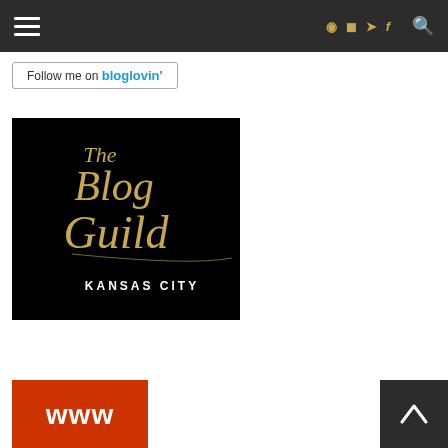Navigation bar with hamburger menu and search icon
[Figure (logo): Follow me on bloglovin' button - white bordered button with text 'Follow me on bloglovin']
[Figure (logo): The Blog Guild Kansas City logo - black background with gold script lettering reading 'The Blog Guild' and 'KANSAS CITY' in white text below]
[Figure (logo): Orange rectangle with white bold 'www' text]
[Figure (other): Dark gray back-to-top button with white upward chevron arrow]